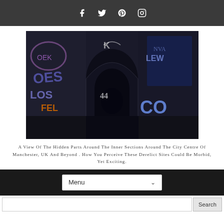Social media icons: Facebook, Twitter, Pinterest, Instagram
[Figure (photo): A dark atmospheric photograph of a derelict urban space under a brick railway arch, with extensive graffiti covering the walls. Multiple arches recede into the background. The graffiti includes large bubble letters and tags in blue, purple, orange, and white. The floor is concrete and debris-strewn. Located in Manchester, UK.]
A View Of The Hidden Parts Around The Inner Sections Around The City Centre Of Manchester, UK And Beyond . How You Perceive These Derelict Sites Could Be Morbid, Yet Exciting.
Menu (navigation dropdown)
Search